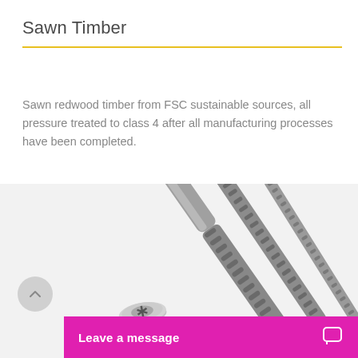Sawn Timber
Sawn redwood timber from FSC sustainable sources, all pressure treated to class 4 after all manufacturing processes have been completed.
[Figure (photo): Three metal screws with flat heads and ridged shanks arranged diagonally on a white background]
Leave a message